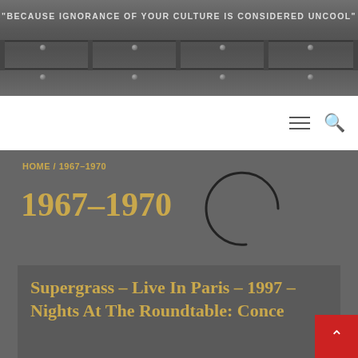"BECAUSE IGNORANCE OF YOUR CULTURE IS CONSIDERED UNCOOL"
[Figure (screenshot): Navigation bar with hamburger menu and search icon on white background]
HOME / 1967–1970
1967–1970
[Figure (infographic): Circular loading spinner / arc graphic in dark color]
Supergrass – Live In Paris – 1997 – Nights At The Roundtable: Conce...